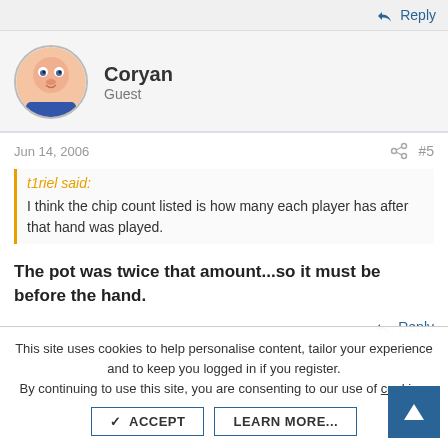Reply
Coryan
Guest
Jun 14, 2006  #5
t1riel said:
I think the chip count listed is how many each player has after that hand was played.
The pot was twice that amount...so it must be before the hand.
Reply
This site uses cookies to help personalise content, tailor your experience and to keep you logged in if you register.
By continuing to use this site, you are consenting to our use of cookies.
ACCEPT  LEARN MORE...